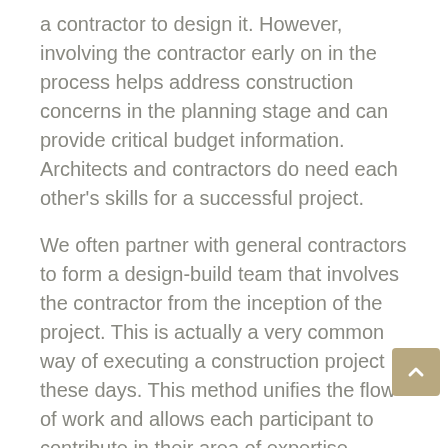a contractor to design it. However, involving the contractor early on in the process helps address construction concerns in the planning stage and can provide critical budget information. Architects and contractors do need each other's skills for a successful project.
We often partner with general contractors to form a design-build team that involves the contractor from the inception of the project. This is actually a very common way of executing a construction project these days. This method unifies the flow of work and allows each participant to contribute in their area of expertise.
The traditional approach to the building or remodeling process was the design-bid-build concept in which an architect would completely design the project and produce a full set of construction drawings that would then be bid out to multiple contractors. This allowed the homeowners the ability to compare bid numbers, but the project had often been over-designed, which required...